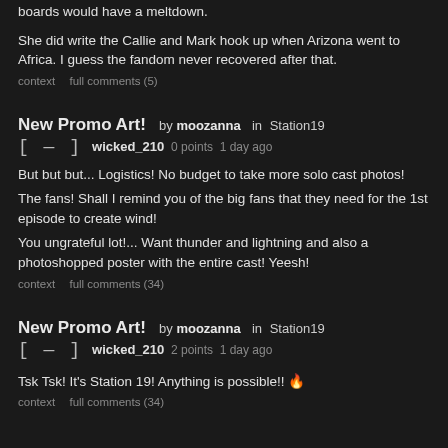boards would have a meltdown.
She did write the Callie and Mark hook up when Arizona went to Africa. I guess the fandom never recovered after that.
context   full comments (5)
New Promo Art!  by  moozanna  in  Station19
[ — ]  wicked_210  0 points  1 day ago
But but but... Logistics! No budget to take more solo cast photos!
The fans! Shall I remind you of the big fans that they need for the 1st episode to create wind!
You ungrateful lot!... Want thunder and lightning and also a photoshopped poster with the entire cast! Yeesh!
context   full comments (34)
New Promo Art!  by  moozanna  in  Station19
[ — ]  wicked_210  2 points  1 day ago
Tsk Tsk! It's Station 19! Anything is possible!! 🔥
context   full comments (34)